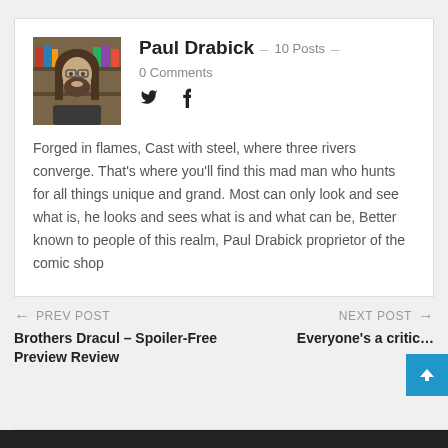[Figure (photo): Profile photo of Paul Drabick, a man with long hair and a beard wearing glasses, standing in what appears to be a comic shop.]
Paul Drabick · 10 Posts · 0 Comments
Forged in flames, Cast with steel, where three rivers converge. That's where you'll find this mad man who hunts for all things unique and grand. Most can only look and see what is, he looks and sees what is and what can be, Better known to people of this realm, Paul Drabick proprietor of the comic shop
← PREV POST
Brothers Dracul – Spoiler-Free Preview Review
NEXT POST →
Everyone's a critic…